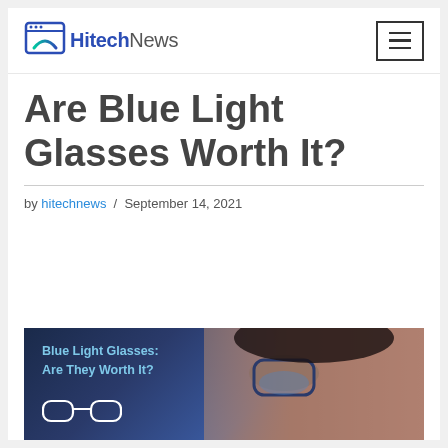HitechNews
Are Blue Light Glasses Worth It?
by hitechnews / September 14, 2021
[Figure (photo): Photo of a person wearing glasses with blue light overlay and text 'Blue Light Glasses: Are They Worth It?' with glasses illustration]